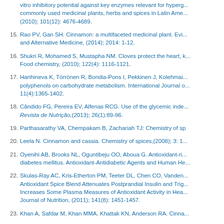vitro inhibitory potential against key enzymes relevant for hyper... commonly used medicinal plants, herbs and spices in Latin Ame... (2010); 101(12): 4676-4689.
15. Rao PV, Gan SH. Cinnamon: a multifaceted medicinal plant. Evi... and Alternative Medicine, (2014); 2014: 1-12.
16. Shukri R, Mohamed S, Mustapha NM. Cloves protect the heart, ... Food chemistry, (2010); 122(4): 1116-1121.
17. Hanhineva K, Törrönen R, Bondia-Pons I, Pekkinen J, Kolehmai... polyphenols on carbohydrate metabolism. International Journal o... 11(4):1365-1402.
18. Cândido FG, Pereira EV, Alfenas RCG. Use of the glycemic inde... Revista de Nutrição,(2013); 26(1):89-96.
19. Parthasarathy VA, Chempakam B, Zachariah TJ: Chemistry of sp
20. Leela N. Cinnamon and cassia. Chemistry of spices,(2008); 3: 1...
21. Oyenihi AB, Brooks NL, Oguntibeju OO, Aboua G. Antioxidant-ri... diabetes mellitus. Antioxidant-Antidiabetic Agents and Human He...
22. Skulas-Ray AC, Kris-Etherton PM, Teeter DL, Chen CO, Vanden... Antioxidant Spice Blend Attenuates Postprandial Insulin and Trig... Increases Some Plasma Measures of Antioxidant Activity in Hea... Journal of Nutrition, (2011); 141(8): 1451-1457.
23. Khan A, Safdar M, Khan MMA, Khattak KN, Anderson RA. Cinna...